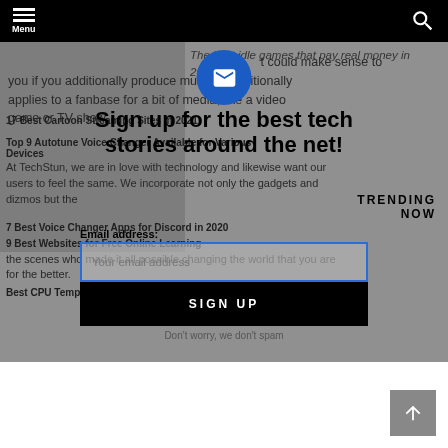Menu
The best idle games that pay real money in 2021.
#iy t could make sense to you if you additionally produce music. It additionally applies to a fanbase for a bit of media, like a video game or TV show.
17 Best Cartoon Streaming Sites in 2021
Top 9 Autotune Voice Changer Available for Various Devices
At TechStun, we are in love with technology and likewise want our users to feel the same. We incorporate not only the gadgets and dizmos but the folks behind the scenes who made it all possible changing the world that you are for the better.
7 Best Voice Changer Apps for Discord in 2020
9 Best Websites for Free Online Learning
Best CPU Temperature Monitor Tools for Windows (Free)
Sign up for the best tech stories around the net!
TRENDING NOW
Email address:
Your email address
SIGN UP
Don't worry, we don't spam